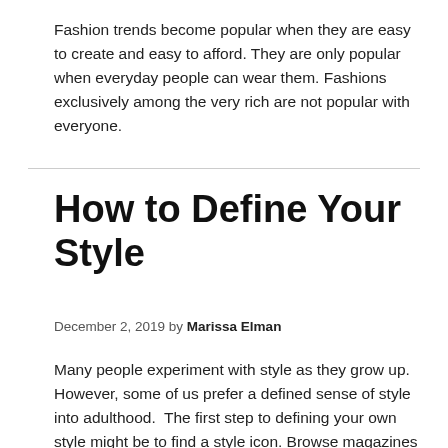Fashion trends become popular when they are easy to create and easy to afford. They are only popular when everyday people can wear them. Fashions exclusively among the very rich are not popular with everyone.
How to Define Your Style
December 2, 2019 by Marissa Elman
Many people experiment with style as they grow up. However, some of us prefer a defined sense of style into adulthood.  The first step to defining your own style might be to find a style icon. Browse magazines to find